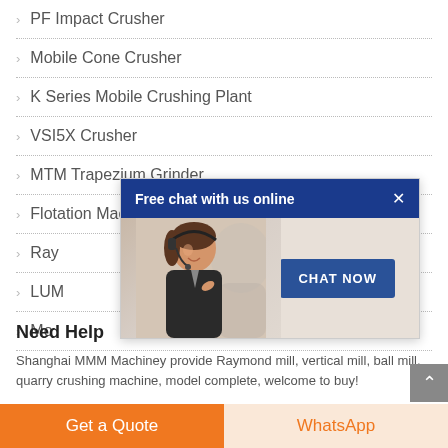PF Impact Crusher
Mobile Cone Crusher
K Series Mobile Crushing Plant
VSI5X Crusher
MTM Trapezium Grinder
Flotation Machine
Ray...
LUM...
Mo...
[Figure (screenshot): Popup chat widget with header 'Free chat with us online', an image of a woman with a headset, and a 'CHAT NOW' button]
Need Help
Shanghai MMM Machiney provide Raymond mill, vertical mill, ball mill, quarry crushing machine, model complete, welcome to buy!